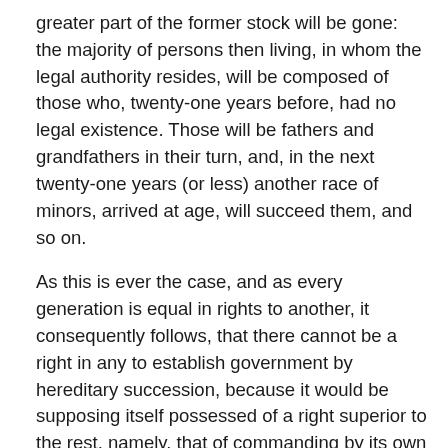greater part of the former stock will be gone: the majority of persons then living, in whom the legal authority resides, will be composed of those who, twenty-one years before, had no legal existence. Those will be fathers and grandfathers in their turn, and, in the next twenty-one years (or less) another race of minors, arrived at age, will succeed them, and so on.
As this is ever the case, and as every generation is equal in rights to another, it consequently follows, that there cannot be a right in any to establish government by hereditary succession, because it would be supposing itself possessed of a right superior to the rest, namely, that of commanding by its own authority how the world shall be hereafter governed, and who shall govern it. Every age and generation is, and must be (as a matter of right), as free to act for itself in all cases, as the age and generation that preceded it. The vanity and presumption of governing beyond the grave is the most ridiculous and insolent of all